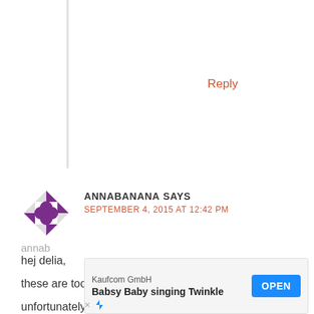Reply
ANNABANANA SAYS
SEPTEMBER 4, 2015 AT 12:42 PM
hej delia,
these are too beautiful!
unfortunately my kids are past those shoe sizey, do you think it works to resize the pattern whilst printing?
or do you have other ideas as to how to change the sizes?
tha!!!
[Figure (logo): Kaufcom GmbH advertisement banner for Babsy Baby singing Twinkle app with OPEN button]